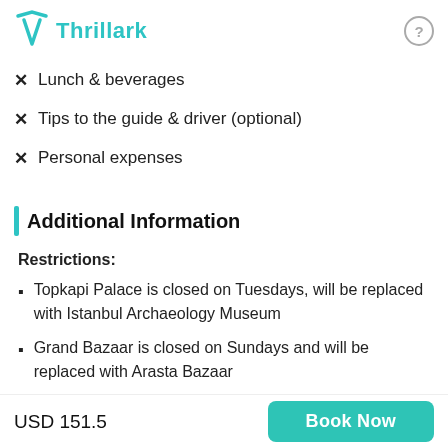Thrillark
Lunch & beverages
Tips to the guide & driver (optional)
Personal expenses
Additional Information
Restrictions:
Topkapi Palace is closed on Tuesdays, will be replaced with Istanbul Archaeology Museum
Grand Bazaar is closed on Sundays and will be replaced with Arasta Bazaar
USD 151.5
Book Now